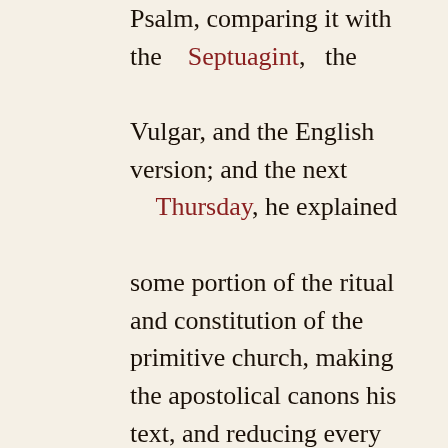Psalm, comparing it with the Septuagint, the Vulgar, and the English version; and the next Thursday, he explained some portion of the ritual and constitution of the primitive church, making the apostolical canons his text, and reducing every article of practice under the head of one or other of those canons. On Fridays, he made each of his scholars, in course, preach a short sermon upon some text he assigned; and, when